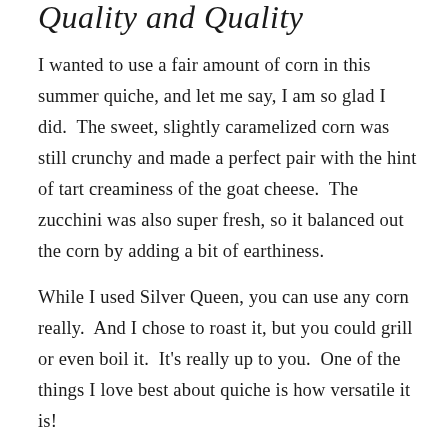Quantity and Quality
I wanted to use a fair amount of corn in this summer quiche, and let me say, I am so glad I did.  The sweet, slightly caramelized corn was still crunchy and made a perfect pair with the hint of tart creaminess of the goat cheese.  The zucchini was also super fresh, so it balanced out the corn by adding a bit of earthiness.
While I used Silver Queen, you can use any corn really.  And I chose to roast it, but you could grill or even boil it.  It's really up to you.  One of the things I love best about quiche is how versatile it is!